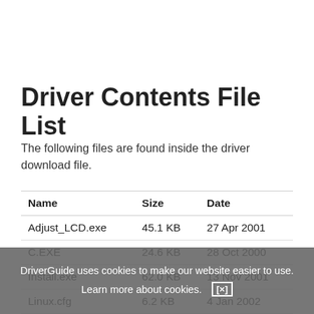Driver Contents File List
The following files are found inside the driver download file.
| Name | Size | Date |
| --- | --- | --- |
| Adjust_LCD.exe | 45.1 KB | 27 Apr 2001 |
| C.EXE | 24.6 KB | 28 Oct 2000 |
| Install.exe | 62.0 KB | 13 Nov 2001 |
| Linux.cfg | 6.2 KB | 4 Jan 2002 |
| Monitor.inf | 2.9 KB | 4 Jan 2002 |
| Readme.txt | 22.9 KB | 13 Nov 2001 |
DriverGuide uses cookies to make our website easier to use. Learn more about cookies. [×]